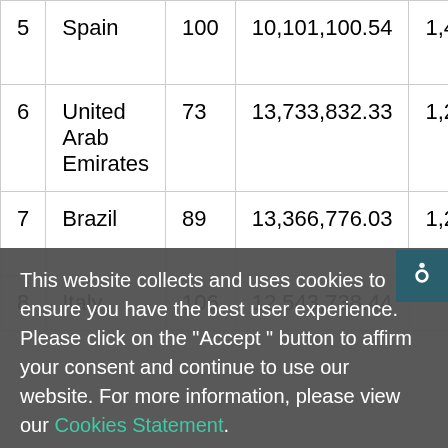|  | Spain | 100 | 10,101,100.54 | 1,4... |
| --- | --- | --- | --- | --- |
| 5 | Spain | 100 | 10,101,100.54 | 1,4... |
| 6 | United Arab Emirates | 73 | 13,733,832.33 | 1,27... |
| 7 | Brazil | 89 | 13,366,776.03 | 1,24... |
| 8 | Italy | 106 | 12,543,738.44 | ... |
This website collects and uses cookies to ensure you have the best user experience. Please click on the "Accept " button to affirm your consent and continue to use our website. For more information, please view our Cookies Statement.